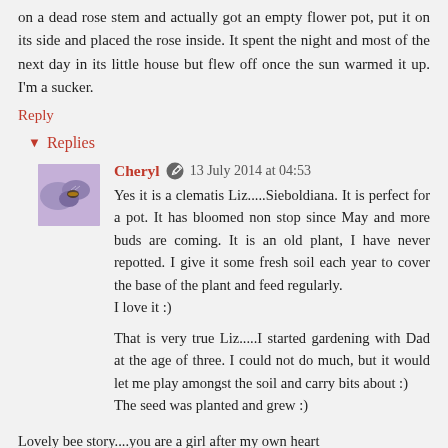on a dead rose stem and actually got an empty flower pot, put it on its side and placed the rose inside. It spent the night and most of the next day in its little house but flew off once the sun warmed it up. I'm a sucker.
Reply
▾ Replies
Cheryl  13 July 2014 at 04:53
Yes it is a clematis Liz.....Sieboldiana. It is perfect for a pot. It has bloomed non stop since May and more buds are coming. It is an old plant, I have never repotted. I give it some fresh soil each year to cover the base of the plant and feed regularly.
I love it :)

That is very true Liz.....I started gardening with Dad at the age of three. I could not do much, but it would let me play amongst the soil and carry bits about :)
The seed was planted and grew :)
Lovely bee story....you are a girl after my own heart